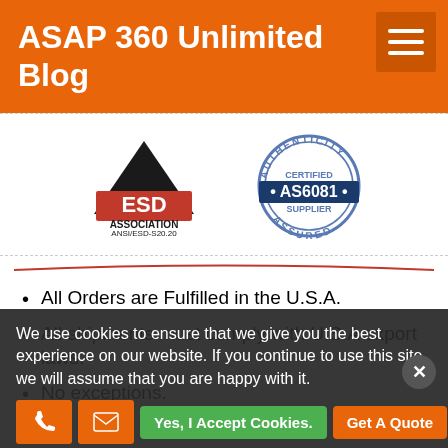ASAP 360 Unlimited Blog
[Figure (logo): ESD Association ANSI/ESD-S20.20 logo and AS6081 Certified Supplier Assured badge]
All Orders are Fulfilled in the U.S.A.
All shipments must comply with U.S.A export laws.
No exceptions.
We use cookies to ensure that we give you the best experience on our website. If you continue to use this site we will assume that you are happy with it.